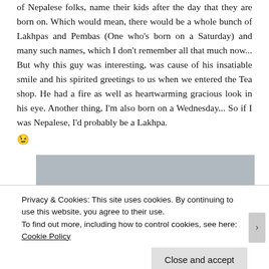of Nepalese folks, name their kids after the day that they are born on. Which would mean, there would be a whole bunch of Lakhpas and Pembas (One who's born on a Saturday) and many such names, which I don't remember all that much now... But why this guy was interesting, was cause of his insatiable smile and his spirited greetings to us when we entered the Tea shop. He had a fire as well as heartwarming gracious look in his eye. Another thing, I'm also born on a Wednesday... So if I was Nepalese, I'd probably be a Lakhpa. 😉
[Figure (photo): Gray image placeholder rectangle]
Privacy & Cookies: This site uses cookies. By continuing to use this website, you agree to their use.
To find out more, including how to control cookies, see here: Cookie Policy
Close and accept